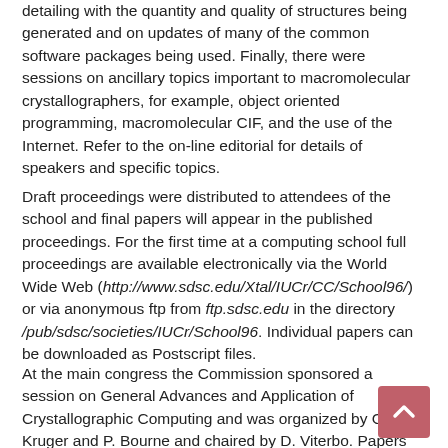detailing with the quantity and quality of structures being generated and on updates of many of the common software packages being used. Finally, there were sessions on ancillary topics important to macromolecular crystallographers, for example, object oriented programming, macromolecular CIF, and the use of the Internet. Refer to the on-line editorial for details of speakers and specific topics.
Draft proceedings were distributed to attendees of the school and final papers will appear in the published proceedings. For the first time at a computing school full proceedings are available electronically via the World Wide Web (http://www.sdsc.edu/Xtal/IUCr/CC/School96/) or via anonymous ftp from ftp.sdsc.edu in the directory /pub/sdsc/societies/IUCr/School96. Individual papers can be downloaded as Postscript files.
At the main congress the Commission sponsored a session on General Advances and Application of Crystallographic Computing and was organized by G. Kruger and P. Bourne and chaired by D. Viterbo. Papers can be found in Acta Crystallographica A52 pp. 376-376 (1996).